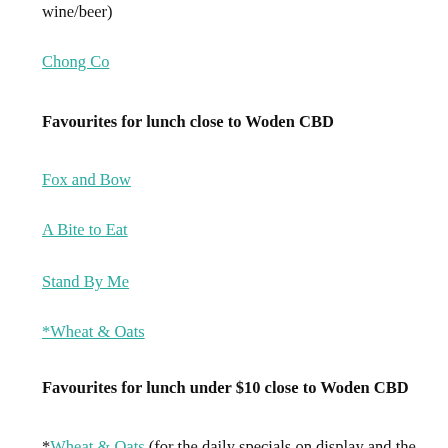wine/beer)
Chong Co
Favourites for lunch close to Woden CBD
Fox and Bow
A Bite to Eat
Stand By Me
*Wheat & Oats
Favourites for lunch under $10 close to Woden CBD
*Wheat & Oats (for the daily specials on display and the goat curry)
Whisk Bakery & Patisserie (for the pies, toasted focaccia and gourmet sandwiches and soup and roll)